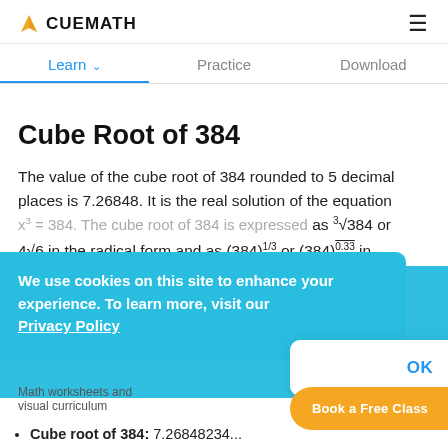CUEMATH
Learn | Practice | Download
Cube Root of 384
The value of the cube root of 384 rounded to 5 decimal places is 7.26848. It is the real solution of the equation x³ = 384. The cube root of 384 is expressed as ∛384 or 4∛6 in the radical form and as (384)^(1/3) or (384)^0.33 in the exponent form. The prime factorization of 384 is 2 × 2 × 2 × 2 × 2 × 2 × 2 × 3, hence, the cube root of 384
We use cookies on this site to enhance your experience. To learn more, visit our Privacy Policy
OK
Cube root of 384: 7.2684823...